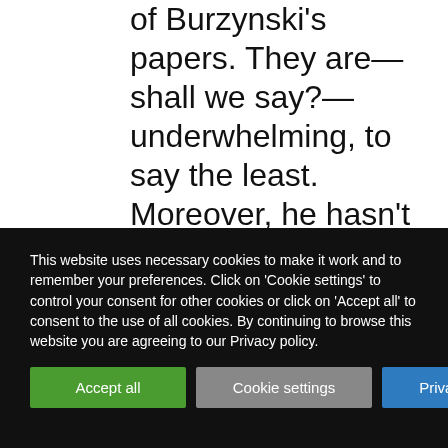of Burzynski's papers. They are—shall we say?—underwhelming, to say the least. Moreover, he hasn't published anything in peer-reviewed journals since 2006 and has published nothing in a
This website uses necessary cookies to make it work and to remember your preferences. Click on 'Cookie settings' to control your consent for other cookies or click on 'Accept all' to consent to the use of all cookies. By continuing to browse this website you are agreeing to our Privacy policy.